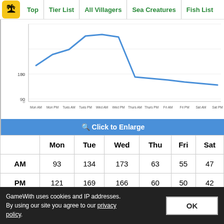Top | Tier List | All Villagers | Sea Creatures | Fish List
[Figure (line-chart): Turnip Price Chart]
🔍 Click to Enlarge
|  | Mon | Tue | Wed | Thu | Fri | Sat |
| --- | --- | --- | --- | --- | --- | --- |
| AM | 93 | 134 | 173 | 63 | 55 | 47 |
| PM | 121 | 169 | 166 | 60 | 50 | 42 |
The Price Gradually Increases
In this pattern, you will see a steady increase up to a certain point. Once the price star...
GameWith uses cookies and IP addresses. By using our site you agree to our privacy policy.